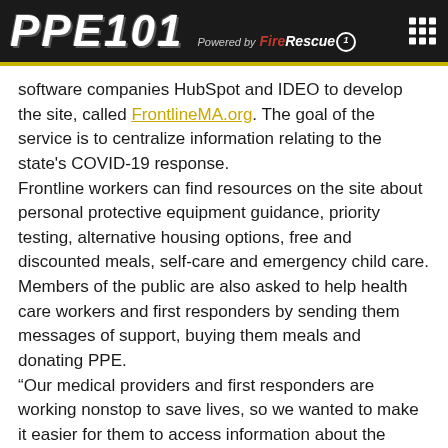PPE101 Powered by FireRescue1
software companies HubSpot and IDEO to develop the site, called FrontlineMA.org. The goal of the service is to centralize information relating to the state's COVID-19 response.
Frontline workers can find resources on the site about personal protective equipment guidance, priority testing, alternative housing options, free and discounted meals, self-care and emergency child care.
Members of the public are also asked to help health care workers and first responders by sending them messages of support, buying them meals and donating PPE.
“Our medical providers and first responders are working nonstop to save lives, so we wanted to make it easier for them to access information about the services and support they need to take care of themselves,” Healey